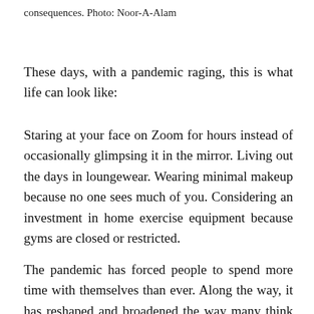consequences. Photo: Noor-A-Alam
These days, with a pandemic raging, this is what life can look like:
Staring at your face on Zoom for hours instead of occasionally glimpsing it in the mirror. Living out the days in loungewear. Wearing minimal makeup because no one sees much of you. Considering an investment in home exercise equipment because gyms are closed or restricted.
The pandemic has forced people to spend more time with themselves than ever. Along the way, it has reshaped and broadened the way many think about